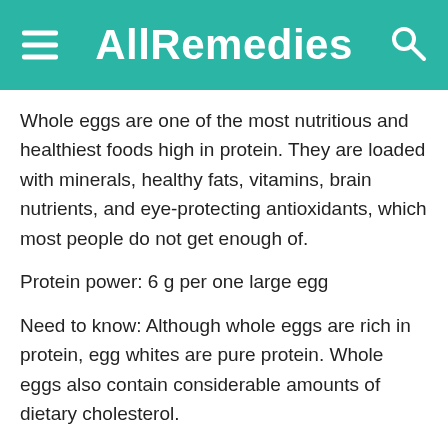AllRemedies
Whole eggs are one of the most nutritious and healthiest foods high in protein. They are loaded with minerals, healthy fats, vitamins, brain nutrients, and eye-protecting antioxidants, which most people do not get enough of.
Protein power: 6 g per one large egg
Need to know: Although whole eggs are rich in protein, egg whites are pure protein. Whole eggs also contain considerable amounts of dietary cholesterol.
Learn more: List of 22 Foods High in Cholesterol to Avoid
4. Soy Milk